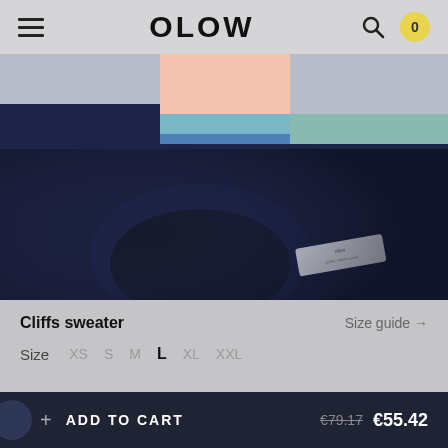OLOW
[Figure (photo): Close-up photo of a navy blue crew-neck sweater with a white brand label, and in the background a colorful sweater with pink, teal, blue color-block design.]
Cliffs sweater
Size guide →
Size   XS   S   M   L   XL   XXL
+ ADD TO CART   €79.17   €55.42